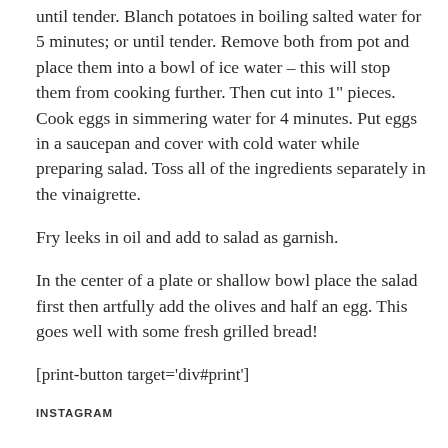until tender. Blanch potatoes in boiling salted water for 5 minutes; or until tender. Remove both from pot and place them into a bowl of ice water – this will stop them from cooking further. Then cut into 1" pieces. Cook eggs in simmering water for 4 minutes. Put eggs in a saucepan and cover with cold water while preparing salad. Toss all of the ingredients separately in the vinaigrette.
Fry leeks in oil and add to salad as garnish.
In the center of a plate or shallow bowl place the salad first then artfully add the olives and half an egg. This goes well with some fresh grilled bread!
[print-button target='div#print']
INSTAGRAM